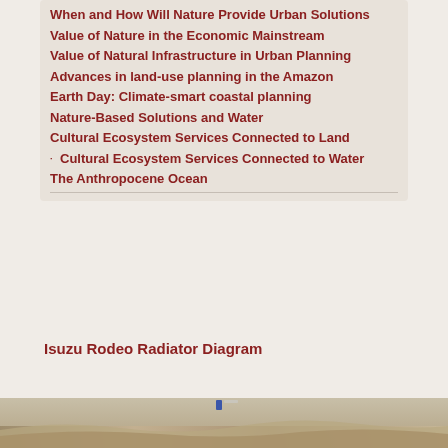When and How Will Nature Provide Urban Solutions
Value of Nature in the Economic Mainstream
Value of Natural Infrastructure in Urban Planning
Advances in land-use planning in the Amazon
Earth Day: Climate-smart coastal planning
Nature-Based Solutions and Water
Cultural Ecosystem Services Connected to Land
Cultural Ecosystem Services Connected to Water
The Anthropocene Ocean
Isuzu Rodeo Radiator Diagram
[Figure (photo): Landscape photo at bottom of page showing arid terrain]